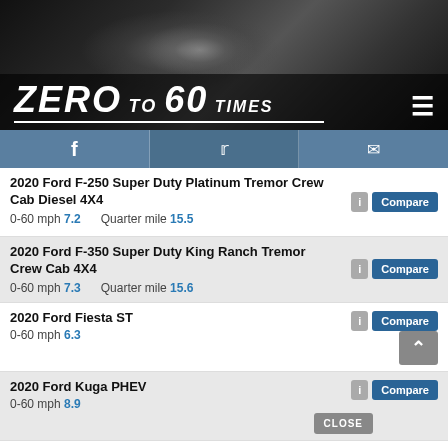[Figure (screenshot): Zero to 60 Times website header with motorcycle engine background image, logo text 'ZERO TO 60 TIMES', hamburger menu icon, social media bar with Facebook, Twitter, and email icons]
2020 Ford F-250 Super Duty Platinum Tremor Crew Cab Diesel 4X4 — 0-60 mph 7.2, Quarter mile 15.5
2020 Ford F-350 Super Duty King Ranch Tremor Crew Cab 4X4 — 0-60 mph 7.3, Quarter mile 15.6
2020 Ford Fiesta ST — 0-60 mph 6.3
2020 Ford Kuga PHEV — 0-60 mph 8.9
2020 Ford Transit 350 EcoBoost AWD (High Roof) — 0-60 mph 6.7, Quarter mile 15.3